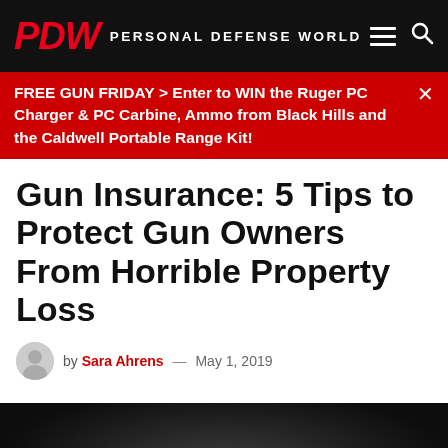PDW PERSONAL DEFENSE WORLD
FREE GUN FRIDAY > Enter to WIN the Ruger PC Charger & PC Carbine, Ammo from Black Hills and the Caldwell Portable Range Kit!
Gun Insurance: 5 Tips to Protect Gun Owners From Horrible Property Loss
by Sara Ahrens — May 1, 2019
[Figure (photo): Black and white photo of a person with head down, appearing distressed, wearing a white shirt]